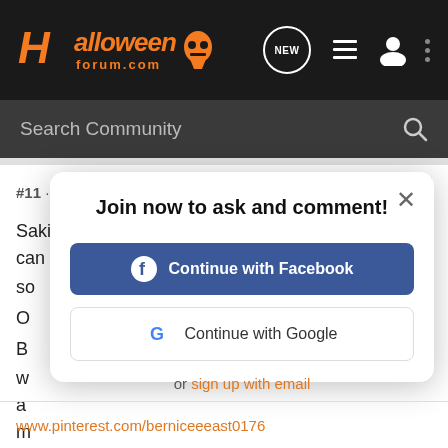Halloweenforum.com — navigation bar with search
#11 · Jan 8, 2015
Saki great finds especially the cross and bottle. You can do so
O
B w a m in
[Figure (screenshot): Modal dialog: Join now to ask and comment! with Continue with Facebook button, Continue with Google button, and or sign up with email link]
www.pinterest.com/berniceeeast0176